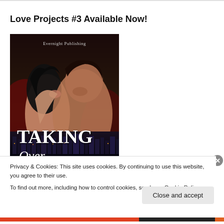Love Projects #3 Available Now!
[Figure (illustration): Book cover for 'Taking Over' (Love Projects #3) published by Evernight Publishing. Shows a romantic couple embracing against a dark city skyline background. Large white serif text reads 'TAKING' and italic 'Over' at the bottom.]
Privacy & Cookies: This site uses cookies. By continuing to use this website, you agree to their use.
To find out more, including how to control cookies, see here: Cookie Policy
Close and accept